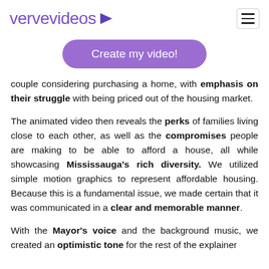vervevideos
Create my video!
couple considering purchasing a home, with emphasis on their struggle with being priced out of the housing market.
The animated video then reveals the perks of families living close to each other, as well as the compromises people are making to be able to afford a house, all while showcasing Mississauga's rich diversity. We utilized simple motion graphics to represent affordable housing. Because this is a fundamental issue, we made certain that it was communicated in a clear and memorable manner.
With the Mayor's voice and the background music, we created an optimistic tone for the rest of the explainer